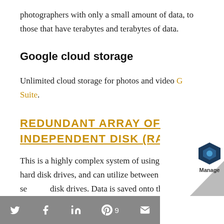photographers with only a small amount of data, to those that have terabytes and terabytes of data.
Google cloud storage
Unlimited cloud storage for photos and video G Suite.
REDUNDANT ARRAY OF INDEPENDENT DISK (RAID)
This is a highly complex system of using multiple hard disk drives, and can utilize between 8 or 20 se... disk drives. Data is saved onto them as if it w...